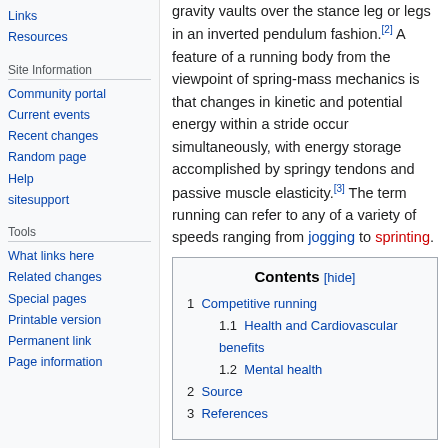Links
Resources
Site Information
Community portal
Current events
Recent changes
Random page
Help
sitesupport
Tools
What links here
Related changes
Special pages
Printable version
Permanent link
Page information
gravity vaults over the stance leg or legs in an inverted pendulum fashion.[2] A feature of a running body from the viewpoint of spring-mass mechanics is that changes in kinetic and potential energy within a stride occur simultaneously, with energy storage accomplished by springy tendons and passive muscle elasticity.[3] The term running can refer to any of a variety of speeds ranging from jogging to sprinting.
| Contents |
| --- |
| 1  Competitive running |
| 1.1  Health and Cardiovascular benefits |
| 1.2  Mental health |
| 2  Source |
| 3  References |